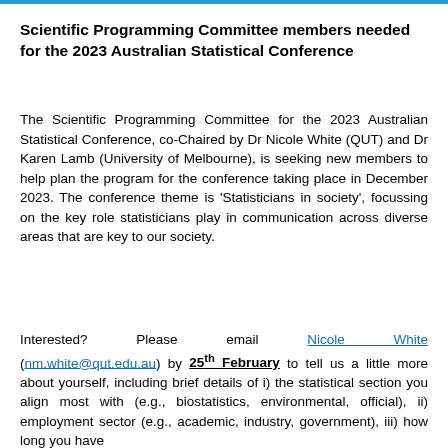Scientific Programming Committee members needed for the 2023 Australian Statistical Conference
The Scientific Programming Committee for the 2023 Australian Statistical Conference, co-Chaired by Dr Nicole White (QUT) and Dr Karen Lamb (University of Melbourne), is seeking new members to help plan the program for the conference taking place in December 2023. The conference theme is 'Statisticians in society', focussing on the key role statisticians play in communication across diverse areas that are key to our society.
Interested? Please email Nicole White (nm.white@qut.edu.au) by 25th February to tell us a little more about yourself, including brief details of i) the statistical section you align most with (e.g., biostatistics, environmental, official), ii) employment sector (e.g., academic, industry, government), iii) how long you have